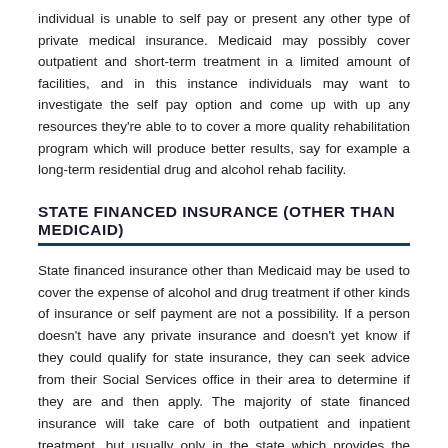individual is unable to self pay or present any other type of private medical insurance. Medicaid may possibly cover outpatient and short-term treatment in a limited amount of facilities, and in this instance individuals may want to investigate the self pay option and come up with up any resources they're able to to cover a more quality rehabilitation program which will produce better results, say for example a long-term residential drug and alcohol rehab facility.
STATE FINANCED INSURANCE (OTHER THAN MEDICAID)
State financed insurance other than Medicaid may be used to cover the expense of alcohol and drug treatment if other kinds of insurance or self payment are not a possibility. If a person doesn't have any private insurance and doesn't yet know if they could qualify for state insurance, they can seek advice from their Social Services office in their area to determine if they are and then apply. The majority of state financed insurance will take care of both outpatient and inpatient treatment, but usually only in the state which provides the insurance coverage.